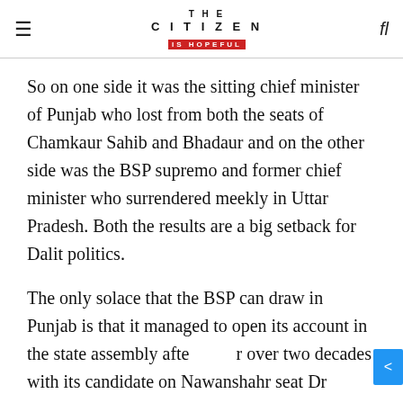THE CITIZEN IS HOPEFUL
So on one side it was the sitting chief minister of Punjab who lost from both the seats of Chamkaur Sahib and Bhadaur and on the other side was the BSP supremo and former chief minister who surrendered meekly in Uttar Pradesh. Both the results are a big setback for Dalit politics.
The only solace that the BSP can draw in Punjab is that it managed to open its account in the state assembly after over two decades with its candidate on Nawanshahr seat Dr Nachhatar Pal returning victorious. But this means little against the UP reality where the BSP could win just